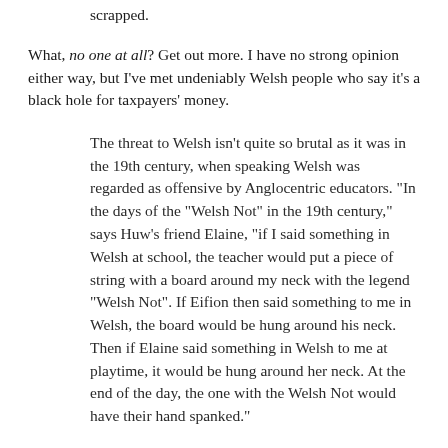…in Wales now who would want the assembly to be scrapped.
What, no one at all? Get out more. I have no strong opinion either way, but I've met undeniably Welsh people who say it's a black hole for taxpayers' money.
The threat to Welsh isn't quite so brutal as it was in the 19th century, when speaking Welsh was regarded as offensive by Anglocentric educators. "In the days of the "Welsh Not" in the 19th century," says Huw's friend Elaine, "if I said something in Welsh at school, the teacher would put a piece of string with a board around my neck with the legend "Welsh Not". If Eifion then said something to me in Welsh, the board would be hung around his neck. Then if Elaine said something in Welsh to me at playtime, it would be hung around her neck. At the end of the day, the one with the Welsh Not would have their hand spanked."
One little point you will rarely if ever see mentioned in